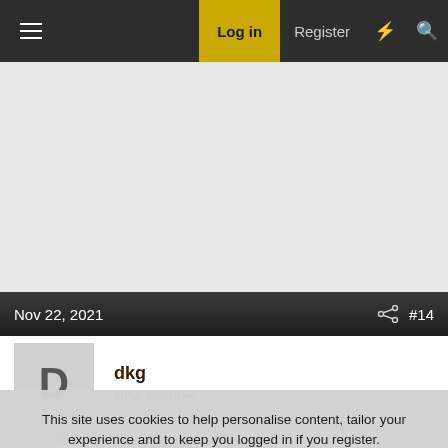Log in  Register
[Figure (screenshot): Gray advertisement placeholder area]
Nov 22, 2021  #14
dkg
New Member
This site uses cookies to help personalise content, tailor your experience and to keep you logged in if you register.
By continuing to use this site, you are consenting to our use of cookies.
Accept  Learn more...